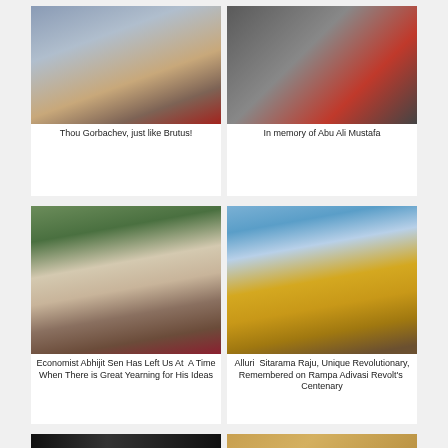[Figure (photo): Photo of Mikhail Gorbachev speaking at a podium with a microphone, red flag in background]
Thou Gorbachev, just like Brutus!
[Figure (photo): Photo of Abu Ali Mustafa, close-up face with protest signs visible]
In memory of Abu Ali Mustafa
[Figure (photo): Photo of Economist Abhijit Sen, elderly man with long white beard and hair outdoors]
Economist Abhijit Sen Has Left Us At  A Time When There is Great Yearning for His Ideas
[Figure (photo): Photo of a golden statue of Alluri Sitarama Raju holding a bow, against blue sky]
Alluri  Sitarama Raju, Unique Revolutionary, Remembered on Rampa Adivasi Revolt's  Centenary
[Figure (photo): Partial photo at bottom left, mostly cut off]
[Figure (photo): Partial photo at bottom right, mostly cut off]